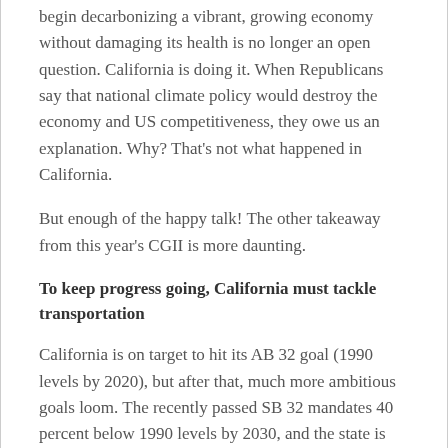begin decarbonizing a vibrant, growing economy without damaging its health is no longer an open question. California is doing it. When Republicans say that national climate policy would destroy the economy and US competitiveness, they owe us an explanation. Why? That's not what happened in California.
But enough of the happy talk! The other takeaway from this year's CGII is more daunting.
To keep progress going, California must tackle transportation
California is on target to hit its AB 32 goal (1990 levels by 2020), but after that, much more ambitious goals loom. The recently passed SB 32 mandates 40 percent below 1990 levels by 2030, and the state is theoretically committed to 80 percent reductions by